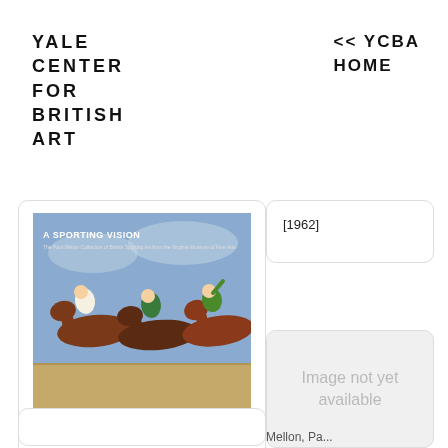YALE CENTER FOR BRITISH ART
<< YCBA HOME
[Figure (photo): Book cover of 'A Sporting Vision' showing horse racing with jockeys on galloping horses]
Yarger, Colleen
A sporting vision
[2018]
[1962]
[Figure (photo): Image not yet available placeholder (gray box)]